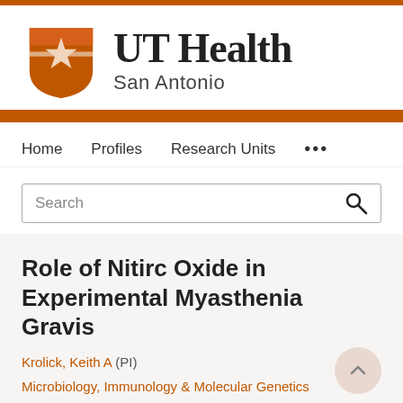[Figure (logo): UT Health San Antonio logo with orange shield and star, with text 'UT Health' in large serif font and 'San Antonio' below]
Home   Profiles   Research Units   ...
Search
Role of Nitirc Oxide in Experimental Myasthenia Gravis
Krolick, Keith A (PI)
Microbiology, Immunology & Molecular Genetics